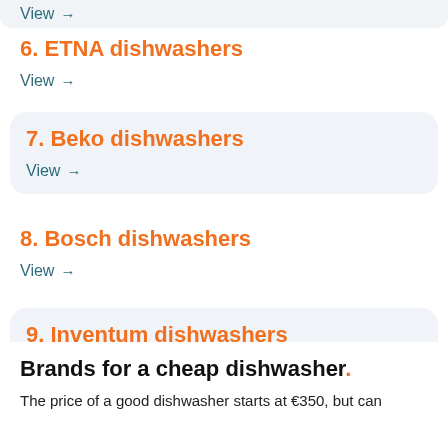View →
6. ETNA dishwashers
View →
7. Beko dishwashers
View →
8. Bosch dishwashers
View →
9. Inventum dishwashers
View →
Brands for a cheap dishwasher.
The price of a good dishwasher starts at €350, but can